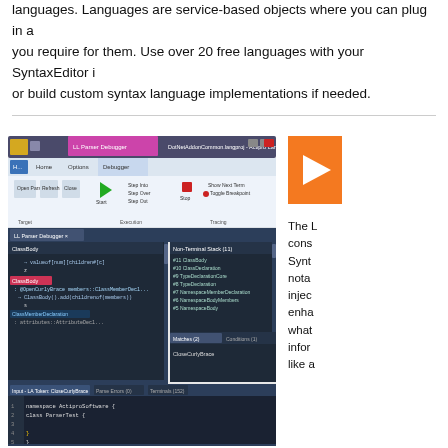languages. Languages are service-based objects where you can plug in a you require for them. Use over 20 free languages with your SyntaxEditor i or build custom syntax language implementations if needed.
[Figure (screenshot): Screenshot of Actipro Language Designer IDE showing LL Parser Debugger with ClassBody grammar rules, Non-Terminal Stack, Matches and Conditions panels, and a code editor pane with C# namespace/class definition.]
[Figure (logo): Orange square logo with white arrow/chevron pointing right]
The L cons Synt nota injec enh what infor like a